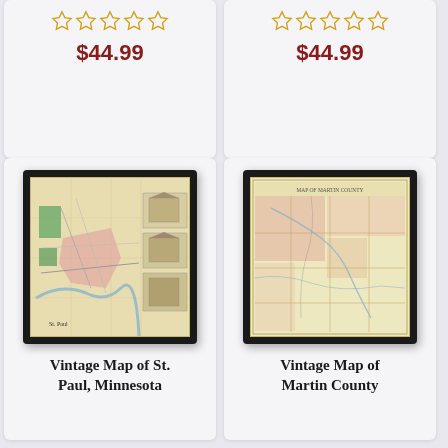[Figure (screenshot): Product card top-left: star rating (empty stars, gold outline) and price $44.99]
$44.99
[Figure (screenshot): Product card top-right: star rating (empty stars, gold outline) and price $44.99]
$44.99
[Figure (photo): Framed vintage map of St. Paul, Minnesota with black frame, showing city plan with inset building illustrations]
Vintage Map of St. Paul, Minnesota
[Figure (photo): Framed vintage map of Martin County with black frame, showing county plan with pink/salmon shading]
Vintage Map of Martin County